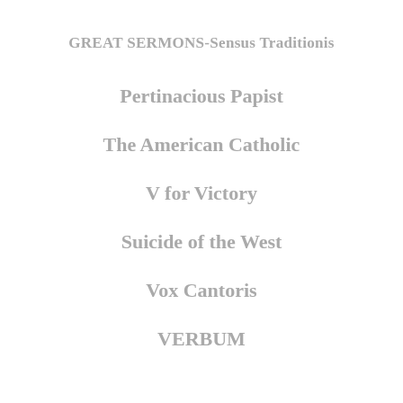GREAT SERMONS-Sensus Traditionis
Pertinacious Papist
The American Catholic
V for Victory
Suicide of the West
Vox Cantoris
VERBUM